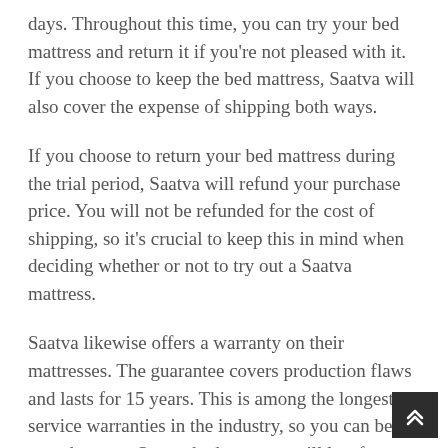days. Throughout this time, you can try your bed mattress and return it if you're not pleased with it. If you choose to keep the bed mattress, Saatva will also cover the expense of shipping both ways.
If you choose to return your bed mattress during the trial period, Saatva will refund your purchase price. You will not be refunded for the cost of shipping, so it's crucial to keep this in mind when deciding whether or not to try out a Saatva mattress.
Saatva likewise offers a warranty on their mattresses. The guarantee covers production flaws and lasts for 15 years. This is among the longest service warranties in the industry, so you can be sure that your Saatva bed mattress will last for several years.
If you're trying to find a premium mattress with a